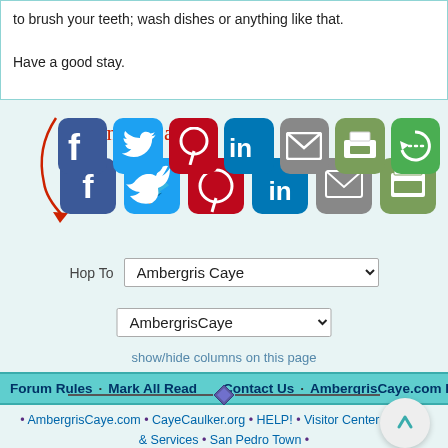to brush your teeth; wash dishes or anything like that.

Have a good stay.
[Figure (infographic): Sharing is caring! social sharing buttons: Facebook, Twitter, Pinterest, LinkedIn, Email, Print, More]
Hop To   Ambergris Caye
AmbergrisCaye
show/hide columns on this page
Forum Rules · Mark All Read   Contact Us · AmbergrisCaye.com Home
• AmbergrisCaye.com • CayeCaulker.org • HELP! • Visitor Center • Goods & Services • San Pedro Town •